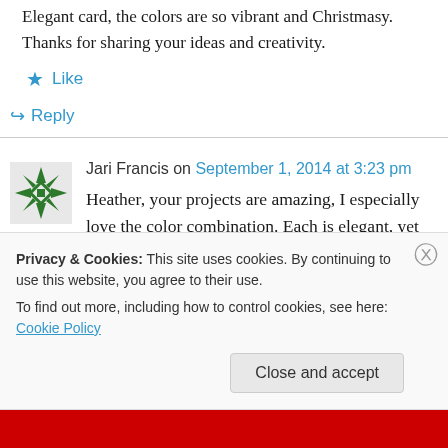Elegant card, the colors are so vibrant and Christmasy. Thanks for sharing your ideas and creativity.
★ Like
↪ Reply
Jari Francis on September 1, 2014 at 3:23 pm
Heather, your projects are amazing, I especially love the color combination. Each is elegant, yet not too fussy! Thanks for sharing your talents
Privacy & Cookies: This site uses cookies. By continuing to use this website, you agree to their use.
To find out more, including how to control cookies, see here: Cookie Policy
Close and accept